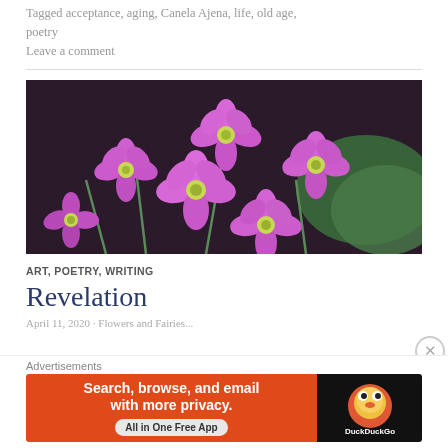Tagged acceptance, aging, Canela Ajena, life, old age, poetry
Leave a comment
[Figure (photo): Close-up photo of pink/magenta flowers (Oxalis) with yellow-green centers, against dark green leaf background]
ART, POETRY, WRITING
Revelation
April 11, 2020 · Flowers and Fairies...
Advertisements
[Figure (screenshot): DuckDuckGo advertisement banner: 'Search, browse, and email with more privacy. All in One Free App' with DuckDuckGo logo on black right panel]